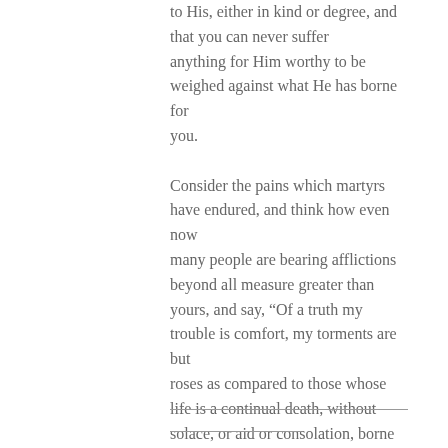to His, either in kind or degree, and that you can never suffer anything for Him worthy to be weighed against what He has borne for you.

Consider the pains which martyrs have endured, and think how even now many people are bearing afflictions beyond all measure greater than yours, and say, “Of a truth my trouble is comfort, my torments are but roses as compared to those whose life is a continual death, without solace, or aid or consolation, borne down with a weight of grief tenfold greater than mine.”